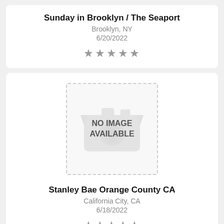Sunday in Brooklyn / The Seaport
Brooklyn, NY
6/20/2022
★★★★★
[Figure (other): No image available placeholder with dashed border and camera icon]
Stanley Bae Orange County CA
California City, CA
6/18/2022
★★★★★